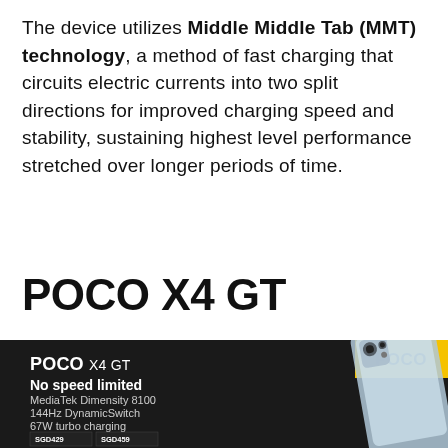The device utilizes Middle Middle Tab (MMT) technology, a method of fast charging that circuits electric currents into two split directions for improved charging speed and stability, sustaining highest level performance stretched over longer periods of time.
POCO X4 GT
[Figure (photo): Dark-background product advertisement for POCO X4 GT smartphone. Shows POCO logo in yellow box top right, text: 'POCO X4 GT No speed limited, MediaTek Dimensity 8100, 144Hz DynamicSwitch, 67W turbo charging' with price tags SGD429 and SGD459 bottom-left. Smartphone image on the right side.]